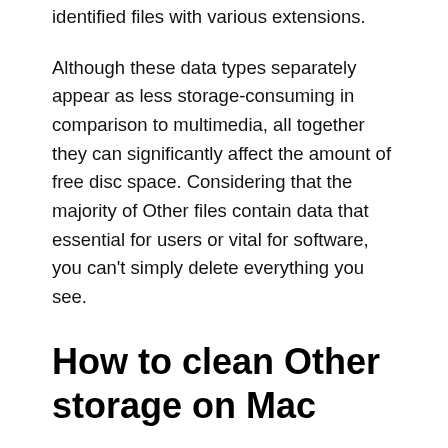identified files with various extensions.
Although these data types separately appear as less storage-consuming in comparison to multimedia, all together they can significantly affect the amount of free disc space. Considering that the majority of Other files contain data that essential for users or vital for software, you can't simply delete everything you see.
How to clean Other storage on Mac
The procedure is quite straightforward: go through this content and make keep-or-delete decisions. Mac users can't simply manage several file types since they aren't familiar with their purpose and can't identify their importance to proper working of OS or any other